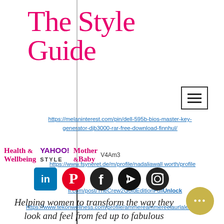The Style Guide
[Figure (screenshot): Hamburger menu icon (three horizontal lines) in a box, top right]
https://melaninterest.com/pin/dell-595b-bios-master-key-generator-djb3000-rar-free-download-finnhul/
[Figure (infographic): Row of social media icons: LinkedIn (blue), Pinterest (red), Facebook (black), YouTube (black), Instagram (black)]
fi.com/post/TheCrew2GoldEditionFullUnlock
Helping women to transform the way they look and feel from fed up to fabulous
https://www.fsyneret.de/m/profile/nadaliawall worth/profile
[Figure (logo): Health & Wellbeing logo (pink/magenta), YAHOO! STYLE logo (purple/black), Mother & Baby logo (magenta)]
https://www.tekonwellness.com/profile/ammereammereelaurlalea/profile
[Figure (other): Gold/yellow circular button with three dots (ellipsis) bottom right]